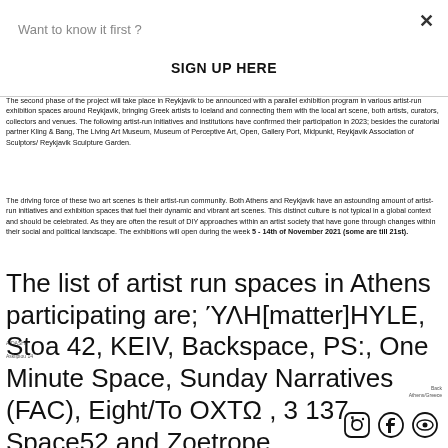Want to know it first ?
SIGN UP HERE
The second phase of the project will take place in Reykjavik to be announced with a parallel exhibition program in various artist-run exhibition spaces around Reykjavik, bringing Greek artists to Iceland and connecting them with the local art scene, both artists, curators, collectors and venues. The following artist-run initiatives and institutions have confirmed their participation in 2023; besides the curatorial partner Kling & Bang, The Living Art Museum, Museum of Perceptive Art, Open, Gallery Port, Midpunkt, Reykjavik Association of Sculptors/ Reykjavik Sculpture Garden.
The driving force of these two art scenes is their artist-run community. Both Athens and Reykjavik have an astounding amount of artist-run initiatives and exhibition spaces that fuel their dynamic and vibrant art scenes. This distinct culture is not typical in a global context and should be celebrated. As they are often the result of DIY approaches within an artist society that have gone through changes within their social and political landscape. The exhibitions will open during the week 5 - 14th of November 2021 (some are till 21st).
The list of artist run spaces in Athens participating are; ΎΛΗ[matter]HYLE, Stoa 42, KEIV, Backspace, PS:, One Minute Space, Sunday Narratives (FAC), Eight/To ΟΧΤΩ , 3 137, Space52 and Zoetrope.